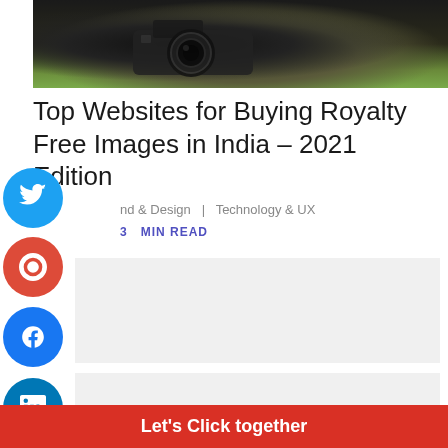[Figure (photo): A DSLR camera with a large lens sitting on a wooden surface, with green foliage visible in the background. A purple banner is at the top of the image.]
Top Websites for Buying Royalty Free Images in India – 2021 Edition
nd & Design  |  Technology & UX
3  MIN READ
[Figure (other): Gray placeholder/advertisement boxes]
Let's Click together